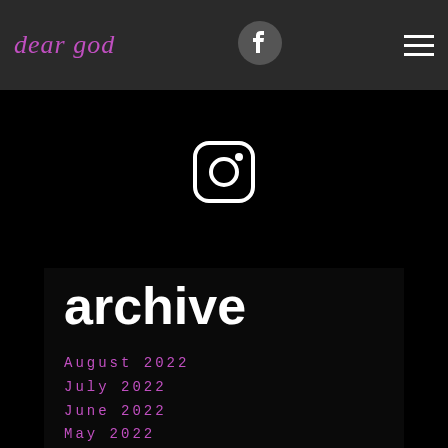dear god
[Figure (logo): Facebook logo icon in dark gray header]
[Figure (logo): Instagram logo icon on black background]
archive
August 2022
July 2022
June 2022
May 2022
April 2022
March 2022
February 2022
January 2022
December 2021